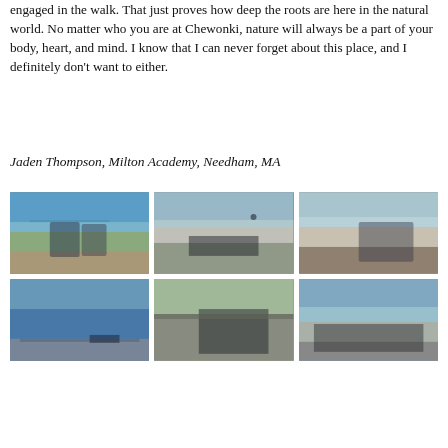engaged in the walk. That just proves how deep the roots are here in the natural world. No matter who you are at Chewonki, nature will always be a part of your body, heart, and mind. I know that I can never forget about this place, and I definitely don't want to either.
Jaden Thompson, Milton Academy, Needham, MA
[Figure (photo): Grid of six outdoor photographs showing students on a coastal rocky landscape and walking along a road, likely at Chewonki, Maine. Top row: two people standing near a rocky shore with water behind them; group of students on rocky coastline; person sitting on large rocks. Bottom row: view of water with people on rocks in distance; large group walking along a road lined with trees; large group photo outdoors.]